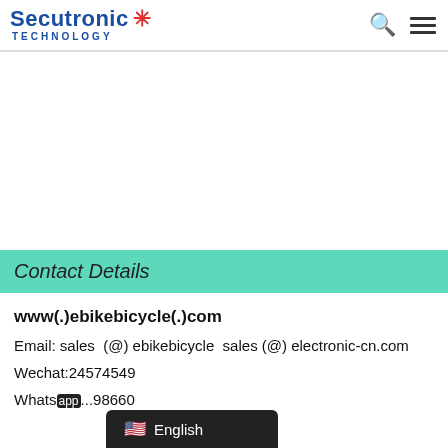Secutronic TECHNOLOGY
Contact Details
www(.)ebikebicycle(.)com
Email: sales  (@) ebikebicycle  sales (@) electronic-cn.com
Wechat:24574549
Whats...98660
English